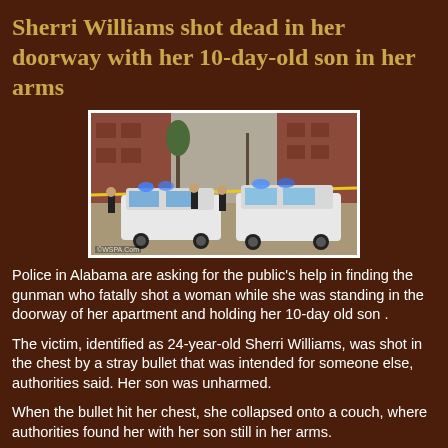Sherri Williams shot dead in her doorway with her 10-day-old son in her arms
[Figure (photo): Crime scene photo showing police cars with blue lights and yellow crime scene tape outside a brick apartment building, with officers standing around the vehicles.]
Police in Alabama are asking for the public's help in finding the gunman who fatally shot a woman while she was standing in the doorway of her apartment and holding her 10-day old son .
The victim, identified as 24-year-old Sherri Williams, was shot in the chest by a stray bullet that was intended for someone else, authorities said. Her son was unharmed.
When the bullet hit her chest, she collapsed onto a couch, where authorities found her with her son still in her arms.